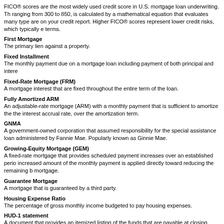FICO® scores are the most widely used credit score in U.S. mortgage loan underwriting. The score, ranging from 300 to 850, is calculated by a mathematical equation that evaluates many types of information that are on your credit report. Higher FICO® scores represent lower credit risks, which typically equates to better loan terms.
First Mortgage
The primary lien against a property.
Fixed Installment
The monthly payment due on a mortgage loan including payment of both principal and interest.
Fixed-Rate Mortgage (FRM)
A mortgage interest that are fixed throughout the entire term of the loan.
Fully Amortized ARM
An adjustable-rate mortgage (ARM) with a monthly payment that is sufficient to amortize the remaining balance, at the interest accrual rate, over the amortization term.
GNMA
A government-owned corporation that assumed responsibility for the special assistance loan programs formerly administered by Fannie Mae. Popularly known as Ginnie Mae.
Growing-Equity Mortgage (GEM)
A fixed-rate mortgage that provides scheduled payment increases over an established period of time. The increased amount of the monthly payment is applied directly toward reducing the remaining balance of the mortgage.
Guarantee Mortgage
A mortgage that is guaranteed by a third party.
Housing Expense Ratio
The percentage of gross monthly income budgeted to pay housing expenses.
HUD-1 statement
A document that provides an itemized listing of the funds that are payable at closing. Items that appear on the statement include real estate commissions, loan fees, points, and initial escrow amounts. Each type of expense on the statement is represented by a separate number within a standardized numbering system. The totals at the bottom of the HUD-1 statement define the seller's net proceeds and the buyer's net payment at closing.